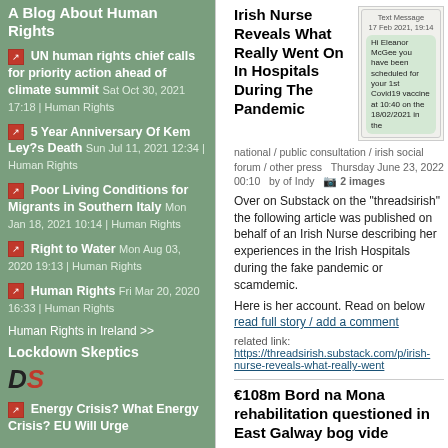A Blog About Human Rights
UN human rights chief calls for priority action ahead of climate summit Sat Oct 30, 2021 17:18 | Human Rights
5 Year Anniversary Of Kem Ley?s Death Sun Jul 11, 2021 12:34 | Human Rights
Poor Living Conditions for Migrants in Southern Italy Mon Jan 18, 2021 10:14 | Human Rights
Right to Water Mon Aug 03, 2020 19:13 | Human Rights
Human Rights Fri Mar 20, 2020 16:33 | Human Rights
Human Rights in Ireland >>
Lockdown Skeptics
[Figure (logo): DS logo with bold italic D and S letters]
Energy Crisis? What Energy Crisis? EU Will Urge
Irish Nurse Reveals What Really Went On In Hospitals During The Pandemic
national / public consultation / irish social forum / other press  Thursday June 23, 2022 00:10  by of Indy  2 images
[Figure (screenshot): Text Message screenshot dated 17 Feb 2021, 19:14, showing message: Hi Eleanor McGee you have been scheduled for your 1st Covid19 vaccine at 10:40 on the 18/02/2021 in the]
Over on Substack on the "threadsirish" the following article was published on behalf of an Irish Nurse describing her experiences in the Irish Hospitals during the fake pandemic or scamdemic.
Here is her account. Read on below read full story / add a comment
related link: https://threadsirish.substack.com/p/irish-nurse-reveals-what-really-went
€108m Bord na Mona rehabilitation questioned in East Galway bog vide
national / environment / press release  Monday June 06, 2022 23:25  by foie
Video urges Bord na Mona to 'do better' on bog restoration